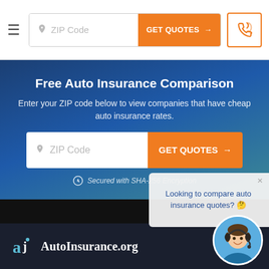≡  ZIP Code  GET QUOTES →  [phone icon]
Free Auto Insurance Comparison
Enter your ZIP code below to view companies that have cheap auto insurance rates.
ZIP Code  GET QUOTES →
Secured with SHA-256 Encryption
Looking to compare auto insurance quotes? 🤔
[Figure (logo): AutoInsurance.org logo with stylized 'aj' icon and white text on dark background]
[Figure (photo): Customer service agent woman with headset smiling, circular cropped photo]